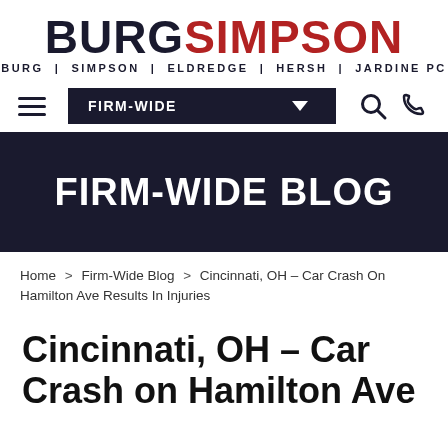[Figure (logo): Burg Simpson law firm logo with text BURGSIMPSON and subtitle BURG | SIMPSON | ELDREDGE | HERSH | JARDINE PC]
FIRM-WIDE (navigation bar with hamburger menu, dropdown, search and phone icons)
[Figure (infographic): Dark navy banner with white text reading FIRM-WIDE BLOG]
Home > Firm-Wide Blog > Cincinnati, OH – Car Crash On Hamilton Ave Results In Injuries
Cincinnati, OH – Car Crash on Hamilton Ave